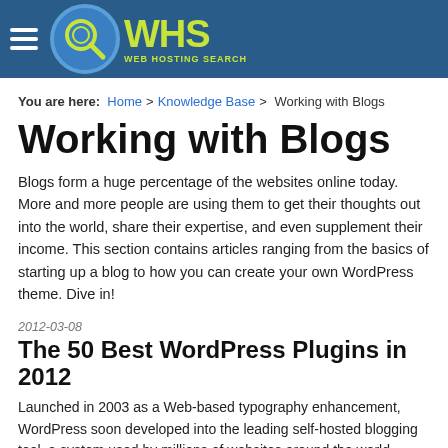[Figure (logo): WHS Web Hosting Search logo with hamburger menu on dark blue header bar]
You are here:  Home  >  Knowledge Base  >  Working with Blogs
Working with Blogs
Blogs form a huge percentage of the websites online today. More and more people are using them to get their thoughts out into the world, share their expertise, and even supplement their income. This section contains articles ranging from the basics of starting up a blog to how you can create your own WordPress theme. Dive in!
2012-03-08
The 50 Best WordPress Plugins in 2012
Launched in 2003 as a Web-based typography enhancement, WordPress soon developed into the leading self-hosted blogging tool, a system used by millions of websites around the world. WordPress is free (open source) and one of its most popular features is its sophisticated, yet accessible, plugin architecture. With thousands of free plugins available, users can create a WordPress (WP) instance that is uniquely suited to them. With that in mind, we present the 50 best WordPress plugins for 2012.